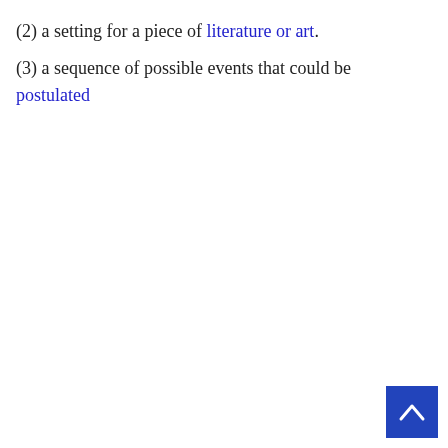(2) a setting for a piece of literature or art.
(3) a sequence of possible events that could be postulated